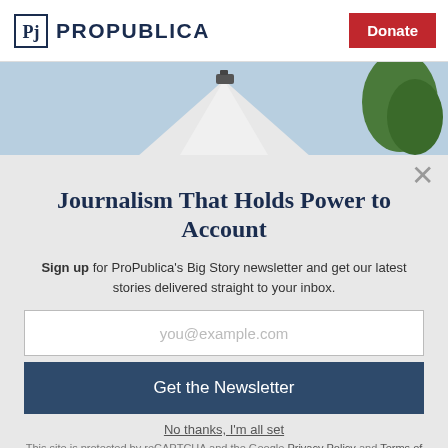ProPublica | Donate
[Figure (photo): Photograph of a building with a dome or spire top, blue sky and green trees in background, with a camera or sensor visible at the top]
Journalism That Holds Power to Account
Sign up for ProPublica's Big Story newsletter and get our latest stories delivered straight to your inbox.
you@example.com
Get the Newsletter
No thanks, I'm all set
This site is protected by reCAPTCHA and the Google Privacy Policy and Terms of Service apply.